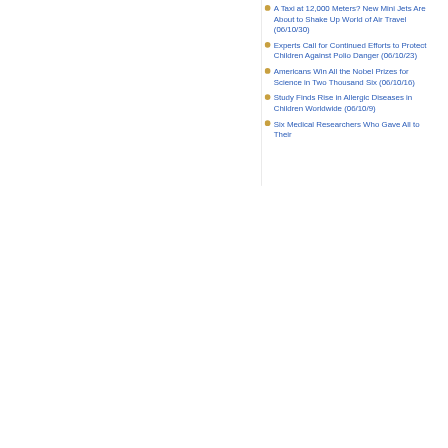A Taxi at 12,000 Meters? New Mini Jets Are About to Shake Up World of Air Travel (06/10/30)
Experts Call for Continued Efforts to Protect Children Against Polio Danger (06/10/23)
Americans Win All the Nobel Prizes for Science in Two Thousand Six (06/10/16)
Study Finds Rise in Allergic Diseases in Children Worldwide (06/10/9)
Six Medical Researchers Who Gave All to Their